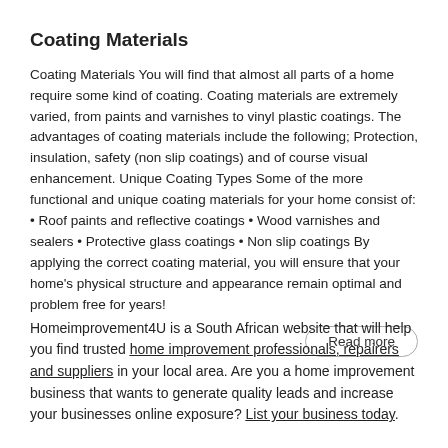Coating Materials
Coating Materials You will find that almost all parts of a home require some kind of coating. Coating materials are extremely varied, from paints and varnishes to vinyl plastic coatings. The advantages of coating materials include the following; Protection, insulation, safety (non slip coatings) and of course visual enhancement. Unique Coating Types Some of the more functional and unique coating materials for your home consist of: • Roof paints and reflective coatings • Wood varnishes and sealers • Protective glass coatings • Non slip coatings By applying the correct coating material, you will ensure that your home's physical structure and appearance remain optimal and problem free for years!
Read more
Homeimprovement4U is a South African website that will help you find trusted home improvement professionals, repairers and suppliers in your local area. Are you a home improvement business that wants to generate quality leads and increase your businesses online exposure? List your business today.